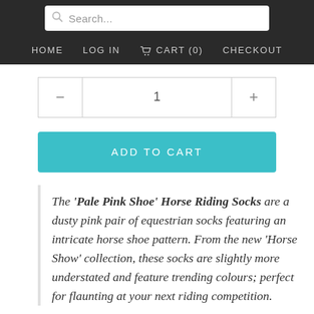Search...
HOME   LOG IN   CART (0)   CHECKOUT
− 1 +
ADD TO CART
The 'Pale Pink Shoe' Horse Riding Socks are a dusty pink pair of equestrian socks featuring an intricate horse shoe pattern. From the new 'Horse Show' collection, these socks are slightly more understated and feature trending colours; perfect for flaunting at your next riding competition.